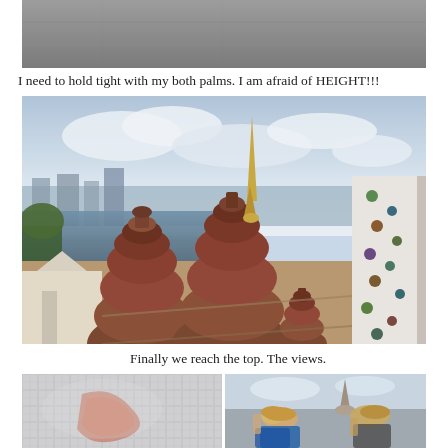[Figure (photo): Close-up of a stone/granite textured surface at the top, partially cropped]
I need to hold tight with my both palms. I am afraid of HEIGHT!!!
[Figure (photo): View from atop a Thai temple (Wat Arun, Bangkok). Ornate red-brown stacked stupas in the foreground, a golden spire rising behind them, decorated white temple wall with ceramic floral patterns on the right, river and city skyline in the background under a cloudy sky.]
Finally we reach the top. The views.
[Figure (photo): Two photos side by side: left shows a close-up of decorative silver/white tiled surface with a reddish design; right shows tourists at the top of the temple, bending or looking around near a stupa.]